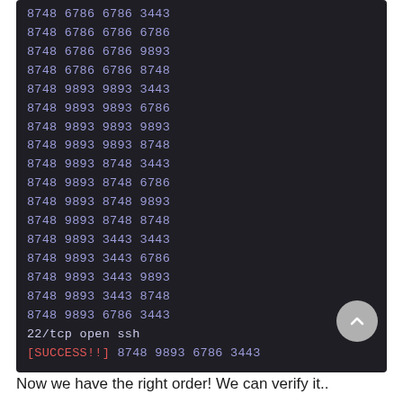8748 6786 6786 3443
8748 6786 6786 6786
8748 6786 6786 9893
8748 6786 6786 8748
8748 9893 9893 3443
8748 9893 9893 6786
8748 9893 9893 9893
8748 9893 9893 8748
8748 9893 8748 3443
8748 9893 8748 6786
8748 9893 8748 9893
8748 9893 8748 8748
8748 9893 3443 3443
8748 9893 3443 6786
8748 9893 3443 9893
8748 9893 3443 8748
8748 9893 6786 3443
22/tcp open  ssh
[SUCCESS!!] 8748 9893 6786 3443
Now we have the right order! We can verify it..